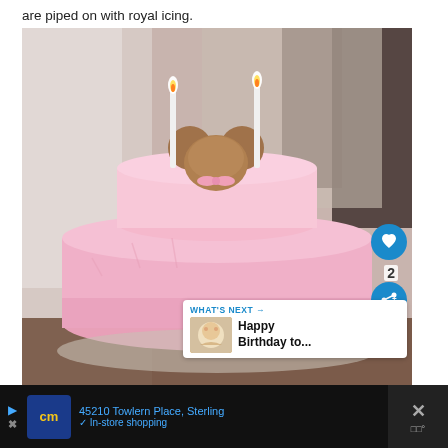are piped on with royal icing.
[Figure (photo): A two-tiered pink birthday cake with a Mickey Mouse-shaped macaron decoration on top and two lit candles. A person in white is blurred in the background. Interactive UI elements visible: heart/like button (blue circle, count of 2), share button (blue circle), 'WHAT'S NEXT' panel showing a thumbnail and 'Happy Birthday to...' text.]
WHAT'S NEXT →
Happy Birthday to...
45210 Towlern Place, Sterling
✓ In-store shopping